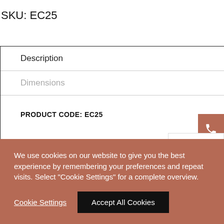SKU: EC25
| Description | Dimensions |
| --- | --- |
| PRODUCT CODE: EC25 |  |
We use cookies on our website to give you the best experience by remembering your preferences and repeat visits. Select "Cookie Settings" for a complete overview.
Cookie Settings   Accept All Cookies